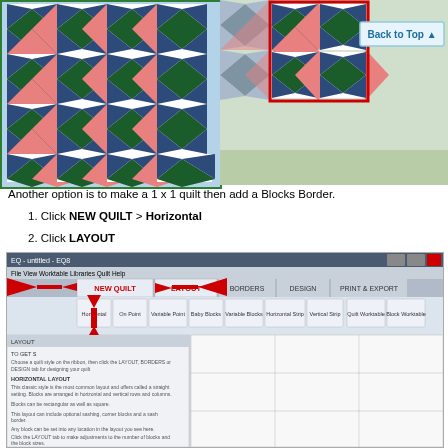[Figure (illustration): Two quilt pattern images side by side. Left quilt has green border and shows a repeating pattern of green diamonds, pink diamonds, and blue/white triangles. Right quilt shows same pattern with a red rectangle overlay highlighting a 2x2 block region, on a green/gray background.]
Another option is to make a 1 x 1 quilt then add a Blocks Border.
1. Click NEW QUILT > Horizontal
2. Click LAYOUT
[Figure (screenshot): Screenshot of EQ quilting software showing the top ribbon menu with NEW QUILT and LAYOUT tabs highlighted by red arrows. The LAYOUT tab panel is visible on the left with text about Horizontal Layout, and a blank quilt grid is shown on the right side.]